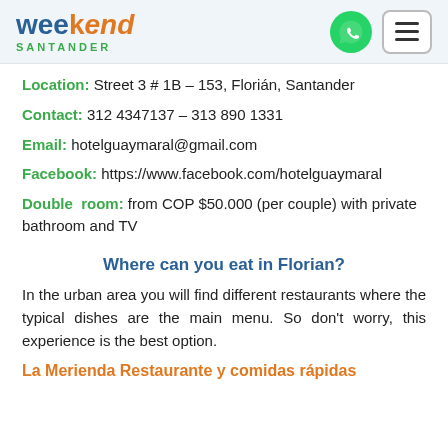Weekend Santander
Location: Street 3 # 1B – 153, Florián, Santander
Contact: 312 4347137 – 313 890 1331
Email: hotelguaymaral@gmail.com
Facebook: https://www.facebook.com/hotelguaymaral
Double room: from COP $50.000 (per couple) with private bathroom and TV
Where can you eat in Florian?
In the urban area you will find different restaurants where the typical dishes are the main menu. So don't worry, this experience is the best option.
La Merienda Restaurante y comidas rápidas